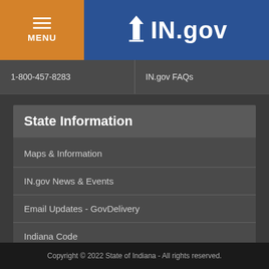MENU | IN.gov
1-800-457-8283
IN.gov FAQs
State Information
Maps & Information
IN.gov News & Events
Email Updates - GovDelivery
Indiana Code
Indiana Administrative Code
Copyright © 2022 State of Indiana - All rights reserved.